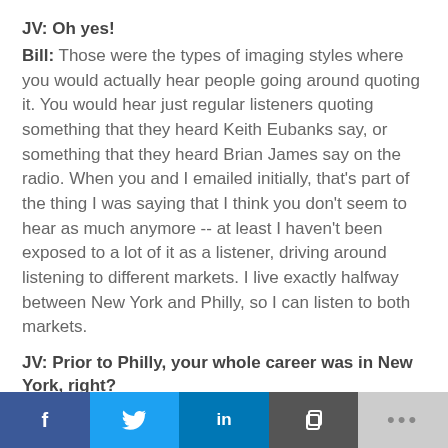JV: Oh yes!
Bill: Those were the types of imaging styles where you would actually hear people going around quoting it. You would hear just regular listeners quoting something that they heard Keith Eubanks say, or something that they heard Brian James say on the radio. When you and I emailed initially, that's part of the thing I was saying that I think you don't seem to hear as much anymore -- at least I haven't been exposed to a lot of it as a listener, driving around listening to different markets. I live exactly halfway between New York and Philly, so I can listen to both markets.
JV: Prior to Philly, your whole career was in New York, right?
f  [twitter]  in  [copy]  ...